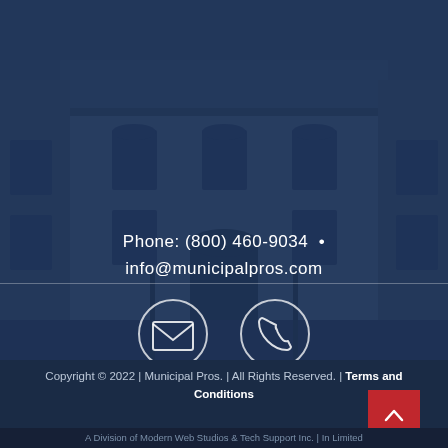Phone: (800) 460-9034  •
info@municipalpros.com
[Figure (illustration): Envelope icon in a white circle outline]
[Figure (illustration): Phone handset icon in a white circle outline]
Copyright © 2022 | Municipal Pros. | All Rights Reserved. | Terms and Conditions
A Division of Modern Web Studios & Tech Support Inc. | In Limited